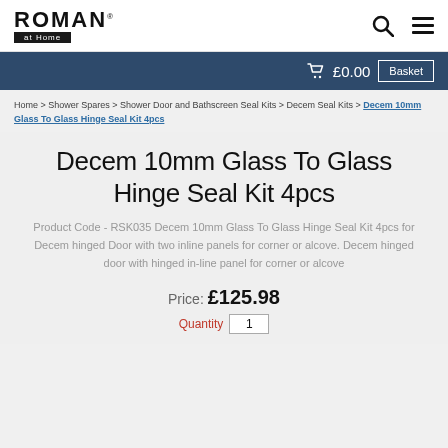ROMAN at Home
£0.00  Basket
Home > Shower Spares > Shower Door and Bathscreen Seal Kits > Decem Seal Kits > Decem 10mm Glass To Glass Hinge Seal Kit 4pcs
Decem 10mm Glass To Glass Hinge Seal Kit 4pcs
Product Code - RSK035 Decem 10mm Glass To Glass Hinge Seal Kit 4pcs for Decem hinged Door with two inline panels for corner or alcove. Decem hinged door with hinged in-line panel for corner or alcove
Price: £125.98
Quantity 1